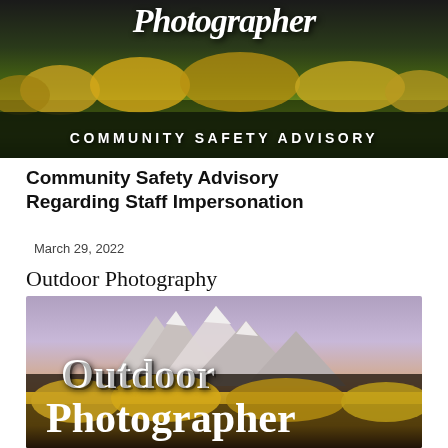[Figure (photo): Banner header image showing autumn forest with yellow and green trees, overlaid with 'Outdoor Photographer' magazine logo text and 'COMMUNITY SAFETY ADVISORY' subtitle in white text on dark background]
Community Safety Advisory Regarding Staff Impersonation
March 29, 2022
Outdoor Photography
[Figure (photo): Outdoor Photographer magazine cover showing snow-capped mountain peaks at dusk with golden autumn trees in foreground, large white serif text reading 'Outdoor Photographer']